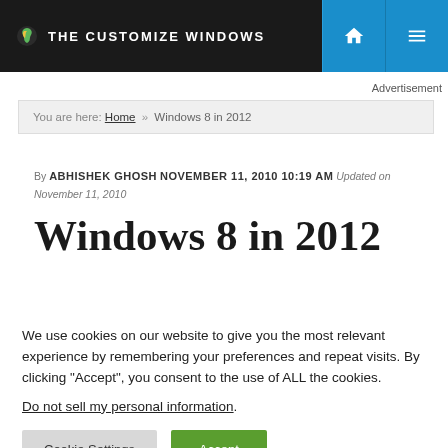THE CUSTOMIZE WINDOWS
Advertisement
You are here: Home » Windows 8 in 2012
By ABHISHEK GHOSH NOVEMBER 11, 2010 10:19 AM Updated on November 11, 2010
Windows 8 in 2012
We use cookies on our website to give you the most relevant experience by remembering your preferences and repeat visits. By clicking "Accept", you consent to the use of ALL the cookies.
Do not sell my personal information.
Cookie Settings  Accept